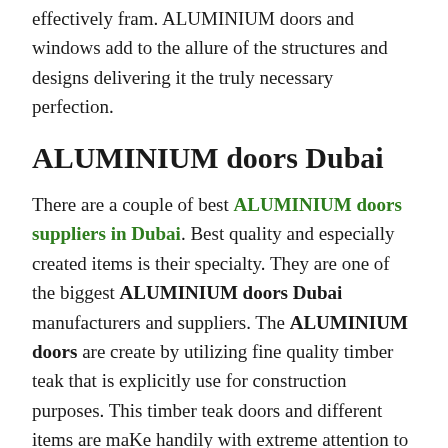effectively fram. ALUMINIUM doors and windows add to the allure of the structures and designs delivering it the truly necessary perfection.
ALUMINIUM doors Dubai
There are a couple of best ALUMINIUM doors suppliers in Dubai. Best quality and especially created items is their specialty. They are one of the biggest ALUMINIUM doors Dubai manufacturers and suppliers. The ALUMINIUM doors are create by utilizing fine quality timber teak that is explicitly use for construction purposes. This timber teak doors and different items are maKe handily with extreme attention to detail and flawlessness. They are arrange by gift specialists and are hand tailore utilizing fine procedures.